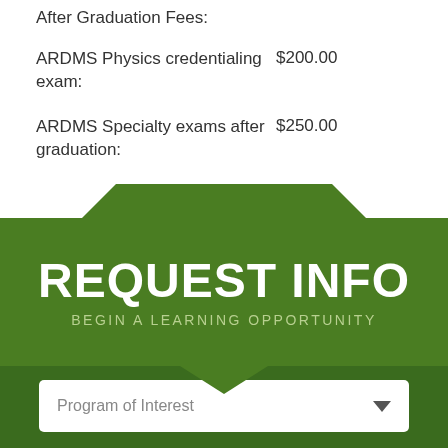After Graduation Fees:
ARDMS Physics credentialing exam:	$200.00
ARDMS Specialty exams after graduation:	$250.00
[Figure (infographic): Green banner with REQUEST INFO heading and BEGIN A LEARNING OPPORTUNITY subheading, with tab notch design at top and chevron at bottom, plus a Program of Interest dropdown selector]
Program of Interest